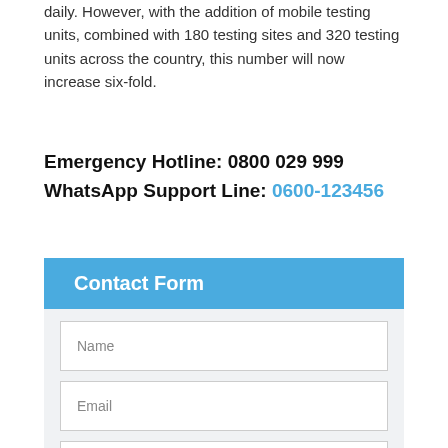daily. However, with the addition of mobile testing units, combined with 180 testing sites and 320 testing units across the country, this number will now increase six-fold.
Emergency Hotline: 0800 029 999
WhatsApp Support Line: 0600-123456
Contact Form
Name
Email
Phone
Message